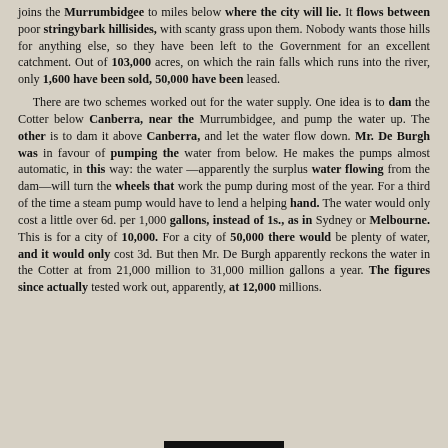joins the Murrumbidgee to miles below where the city will lie. It flows between poor stringybark hillsides, with scanty grass upon them. Nobody wants those hills for anything else, so they have been left to the Government for an excellent catchment. Out of 103,000 acres, on which the rain falls which runs into the river, only 1,600 have been sold, 50,000 have been leased.
There are two schemes worked out for the water supply. One idea is to dam the Cotter below Canberra, near the Murrumbidgee, and pump the water up. The other is to dam it above Canberra, and let the water flow down. Mr. De Burgh was in favour of pumping the water from below. He makes the pumps almost automatic, in this way: the water—apparently the surplus water flowing from the dam—will turn the wheels that work the pump during most of the year. For a third of the time a steam pump would have to lend a helping hand. The water would only cost a little over 6d. per 1,000 gallons, instead of 1s., as in Sydney or Melbourne. This is for a city of 10,000. For a city of 50,000 there would be plenty of water, and it would only cost 3d. But then Mr. De Burgh apparently reckons the water in the Cotter at from 21,000 million to 31,000 million gallons a year. The figures since actually tested work out, apparently, at 12,000 millions.